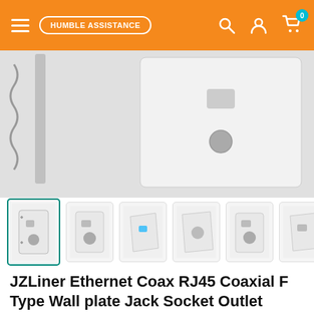HUMBLE ASSISTANCE — navigation bar with search, account, and cart icons
[Figure (photo): Main product image showing a white wall plate with RJ45 and F-type coaxial connectors, partially cropped at top, with a spring/cable visible at left edge]
[Figure (photo): Row of product thumbnail images: selected thumbnail (wall plate front view with green border), then five additional angle/detail views of the same wall plate product]
JZLiner Ethernet Coax RJ45 Coaxial F Type Wall plate Jack Socket Outlet Networking Cover Panel
JZLINER